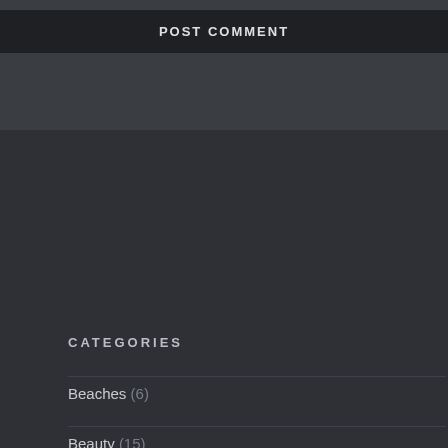POST COMMENT
CATEGORIES
Beaches (6)
Beauty (15)
Cafe (22)
Entertainment (14)
Fashion (14)